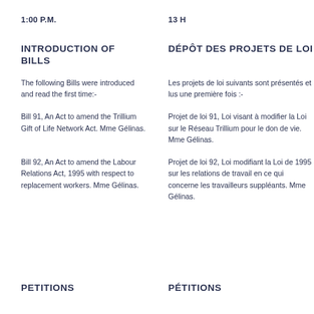1:00 P.M.
13 H
INTRODUCTION OF BILLS
DÉPÔT DES PROJETS DE LOI
The following Bills were introduced and read the first time:-
Les projets de loi suivants sont présentés et lus une première fois :-
Bill 91, An Act to amend the Trillium Gift of Life Network Act. Mme Gélinas.
Projet de loi 91, Loi visant à modifier la Loi sur le Réseau Trillium pour le don de vie. Mme Gélinas.
Bill 92, An Act to amend the Labour Relations Act, 1995 with respect to replacement workers. Mme Gélinas.
Projet de loi 92, Loi modifiant la Loi de 1995 sur les relations de travail en ce qui concerne les travailleurs suppléants. Mme Gélinas.
PETITIONS
PÉTITIONS